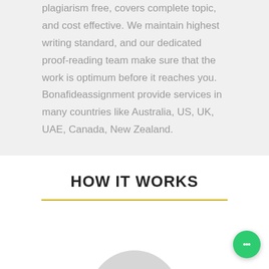plagiarism free, covers complete topic, and cost effective. We maintain highest writing standard, and our dedicated proof-reading team make sure that the work is optimum before it reaches you.
Bonafideassignment provide services in many countries like Australia, US, UK, UAE, Canada, New Zealand.
HOW IT WORKS
[Figure (illustration): Gray semicircle shape at the bottom center, partially visible, representing a circular icon or avatar placeholder for the 'How It Works' section.]